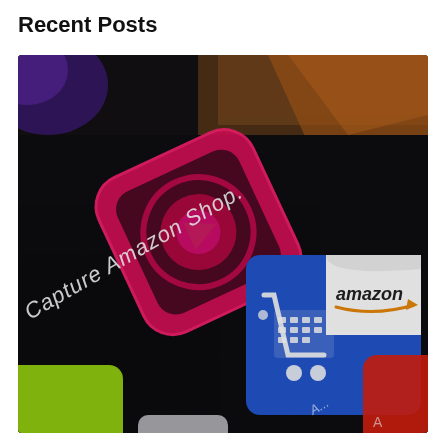Recent Posts
[Figure (photo): Close-up photograph of a smartphone screen showing app icons on a dark background. Visible apps include a pink/magenta camera capture app icon (square with rounded corners and a circular recording symbol), the Amazon Shopping app icon (blue square with a white shopping cart icon and 'amazon' text with a smile arrow), a yellow-green app partially visible at bottom left, and a red app partially visible at bottom right. White italic text on the screen reads 'Capture Amazon Shop.' in a diagonal perspective. The background shows a wooden surface with warm tones.]